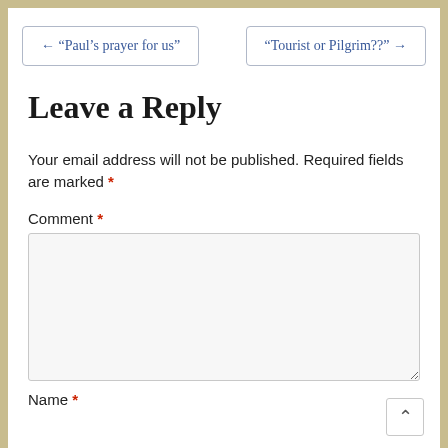← “Paul’s prayer for us”
“Tourist or Pilgrim??” →
Leave a Reply
Your email address will not be published. Required fields are marked *
Comment *
Name *